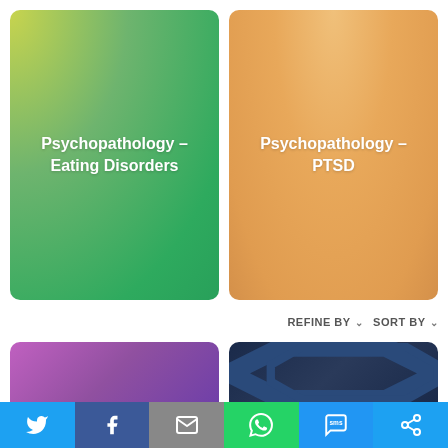[Figure (illustration): Card with yellow-green gradient background and white bold text reading 'Psychopathology – Eating Disorders']
[Figure (illustration): Card with orange gradient background and white bold text reading 'Psychopathology – PTSD']
REFINE BY
SORT BY
[Figure (illustration): Partial purple/violet gradient card at bottom left, partially visible]
[Figure (illustration): Partial dark navy card with chevron/envelope pattern, partially visible]
[Figure (illustration): Social sharing bar with Twitter, Facebook, Email, WhatsApp, SMS, and Share icons]